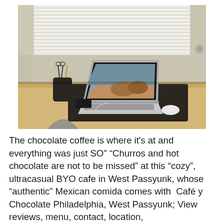[Figure (photo): A MacBook Air laptop open on a dark desk mat, displaying a photo of horses on screen. A black pen/pencil holder with scissors is to the left of the laptop, and a white Apple mouse is to the right. A smartphone lies flat on the desk. The desk is light wood color near a window with white horizontal blinds. A chair back is partially visible in the foreground.]
The chocolate coffee is where it's at and everything was just SO" “Churros and hot chocolate are not to be missed” at this “cozy”, ultracasual BYO cafe in West Passyunk, whose “authentic” Mexican comida comes with  Café y Chocolate Philadelphia, West Passyunk; View reviews, menu, contact, location,